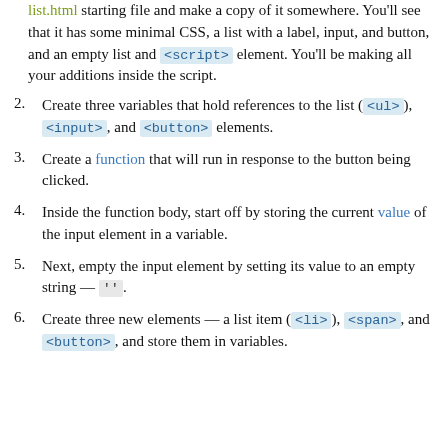(continuation of item 1) list.html starting file and make a copy of it somewhere. You'll see that it has some minimal CSS, a list with a label, input, and button, and an empty list and <script> element. You'll be making all your additions inside the script.
2. Create three variables that hold references to the list (<ul>), <input>, and <button> elements.
3. Create a function that will run in response to the button being clicked.
4. Inside the function body, start off by storing the current value of the input element in a variable.
5. Next, empty the input element by setting its value to an empty string — ''.
6. Create three new elements — a list item (<li>), <span>, and <button>, and store them in variables.